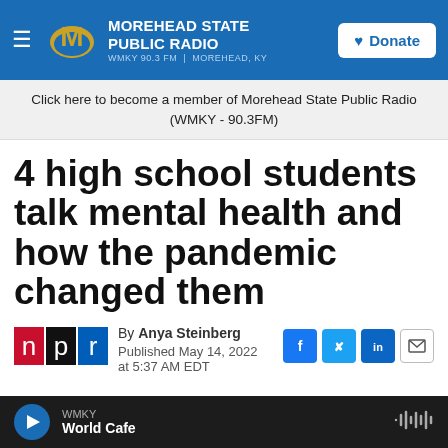MOREHEAD STATE PUBLIC RADIO | WMKY 90.3 FM | MOREHEAD, KY | Donate
Click here to become a member of Morehead State Public Radio (WMKY - 90.3FM)
4 high school students talk mental health and how the pandemic changed them
By Anya Steinberg
Published May 14, 2022 at 5:37 AM EDT
[Figure (logo): NPR logo with red, black and blue blocks showing n, p, r]
[Figure (screenshot): Social sharing icons: Facebook, Twitter, LinkedIn, Email]
WMKY World Cafe — audio player bar